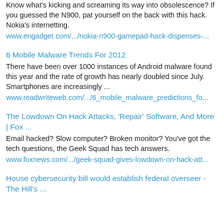Know what's kicking and screaming its way into obsolescence? If you guessed the N900, pat yourself on the back with this hack. Nokia's internetting.
www.engadget.com/.../nokia-n900-gamepad-hack-dispenses-...
6 Mobile Malware Trends For 2012
There have been over 1000 instances of Android malware found this year and the rate of growth has nearly doubled since July. Smartphones are increasingly ...
www.readwriteweb.com/.../6_mobile_malware_predictions_fo...
The Lowdown On Hack Attacks, 'Repair' Software, And More | Fox ...
Email hacked? Slow computer? Broken monitor? You've got the tech questions, the Geek Squad has tech answers.
www.foxnews.com/.../geek-squad-gives-lowdown-on-hack-att...
House cybersecurity bill would establish federal overseer - The Hill's ...